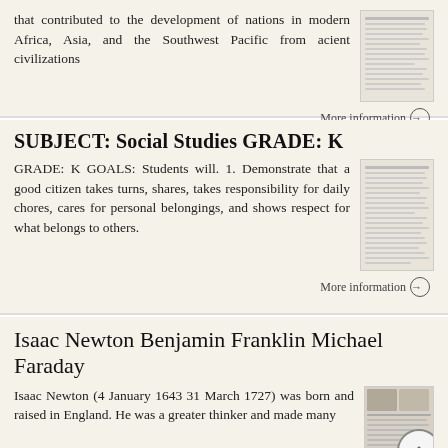that contributed to the development of nations in modern Africa, Asia, and the Southwest Pacific from acient civilizations
More information →
SUBJECT: Social Studies GRADE: K
GRADE: K GOALS: Students will. 1. Demonstrate that a good citizen takes turns, shares, takes responsibility for daily chores, cares for personal belongings, and shows respect for what belongs to others.
More information →
Isaac Newton Benjamin Franklin Michael Faraday
Isaac Newton (4 January 1643 31 March 1727) was born and raised in England. He was a greater thinker and made many